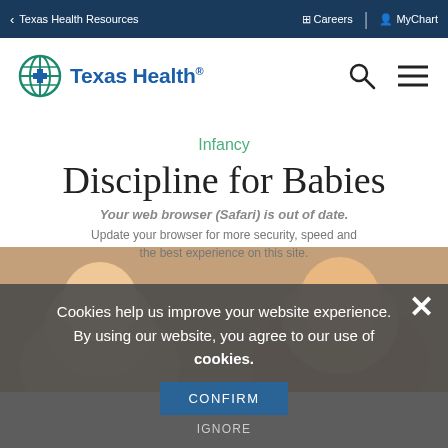< Texas Health Resources    Careers  |  MyChart
[Figure (logo): Texas Health logo with globe icon and search/menu icons]
Infancy
Discipline for Babies and Toddlers
Your web browser (Safari) is out of date. Update your browser for more security, speed and the best experience on this site.
Cookies help us improve your website experience. By using our website, you agree to our use of cookies.
CONFIRM
IGNORE